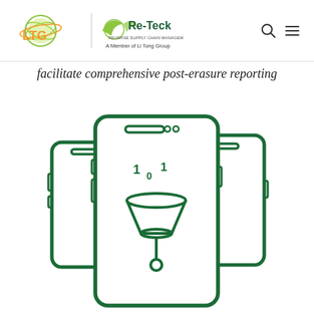LTG | Re-Teck A Member of Li Tong Group
facilitate comprehensive post-erasure reporting
[Figure (illustration): Three smartphones arranged with the center phone in front displaying a data-erasure icon — a funnel with binary digits (1, 0, 1) dropping into it and a drip below, all rendered in dark green outline style.]